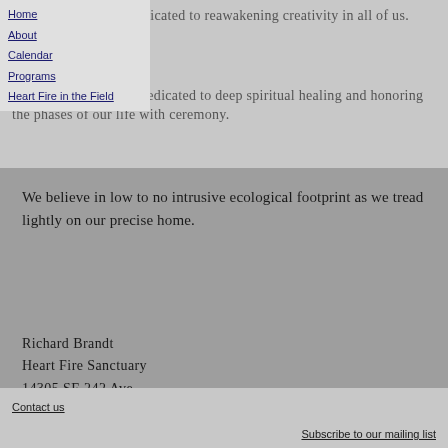Home | About | Calendar | Programs | Heart Fire in the Field
Creative Pathways: dedicated to reawakening creativity in all of us.
Diamond Heart Path: dedicated to deep spiritual healing and honoring the phases of our life with ceremony.
We believe in low to no intrusive ecological footprint as we tread lightly on our precise home.
Richard Brandt
Heart Fire Sanctuary
14305 SE 242 Ave
Damascus, Or 97089
971-302-3143
heartfiresanctuary@gmail.com
Photos by Richard Brandt
Contact us | Subscribe to our mailing list